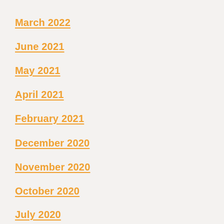March 2022
June 2021
May 2021
April 2021
February 2021
December 2020
November 2020
October 2020
July 2020